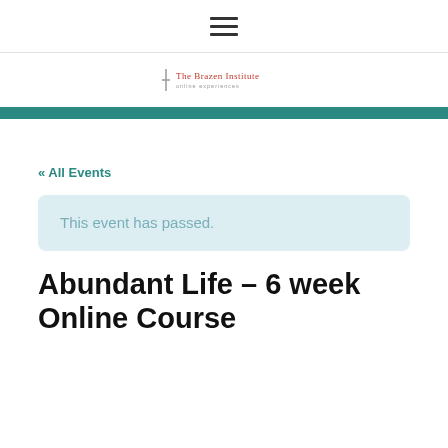≡
[Figure (logo): The Brazen Institute logo with text and icon]
« All Events
This event has passed.
Abundant Life – 6 week Online Course